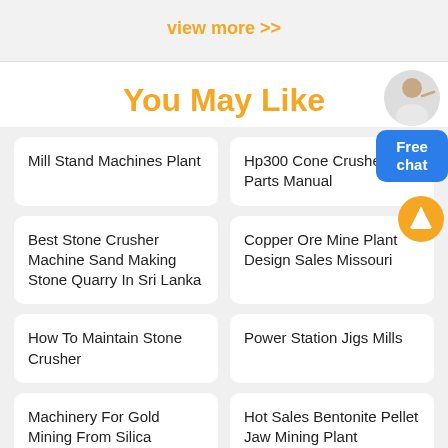view more >>
You May Like
Mill Stand Machines Plant
Hp300 Cone Crusher Parts Manual
Best Stone Crusher Machine Sand Making Stone Quarry In Sri Lanka
Copper Ore Mine Plant Design Sales Missouri
How To Maintain Stone Crusher
Power Station Jigs Mills
Machinery For Gold Mining From Silica
Hot Sales Bentonite Pellet Jaw Mining Plant